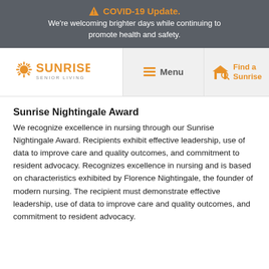⚠ COVID-19 Update. We're welcoming brighter days while continuing to promote health and safety.
[Figure (logo): Sunrise Senior Living logo with sun graphic and orange text]
Sunrise Nightingale Award
We recognize excellence in nursing through our Sunrise Nightingale Award. Recipients exhibit effective leadership, use of data to improve care and quality outcomes, and commitment to resident advocacy. Recognizes excellence in nursing and is based on characteristics exhibited by Florence Nightingale, the founder of modern nursing. The recipient must demonstrate effective leadership, use of data to improve care and quality outcomes, and commitment to resident advocacy.